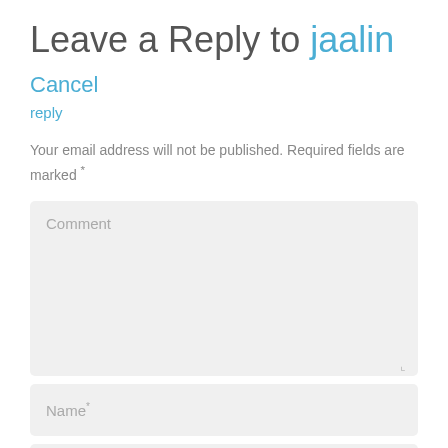Leave a Reply to jaalin Cancel
reply
Your email address will not be published. Required fields are marked *
Comment
Name*
Email*